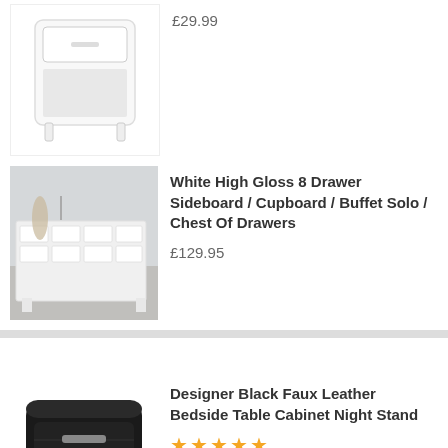[Figure (photo): White bedside table with one drawer and open shelf below, on white background]
£29.99
[Figure (photo): White high gloss 8 drawer sideboard/chest of drawers in a modern room setting]
White High Gloss 8 Drawer Sideboard / Cupboard / Buffet Solo / Chest Of Drawers
£129.95
[Figure (photo): Designer black faux leather bedside table cabinet night stand with two drawers and silver handles]
Designer Black Faux Leather Bedside Table Cabinet Night Stand
★★★★★
£64.95
Sonoma Oak Bedroom Furniture 4 Drawer